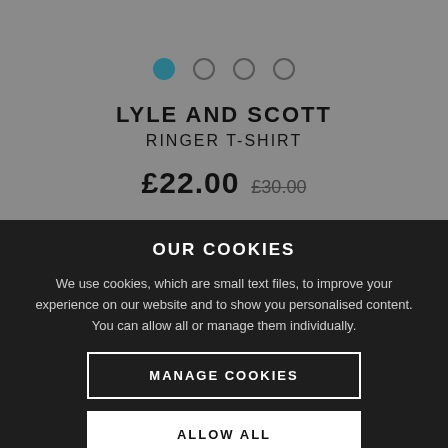[Figure (screenshot): Product page screenshot showing carousel navigation dots (first dot active/teal, three inactive) and product details for Lyle and Scott Ringer T-Shirt priced at £22.00 (was £30.00) on a grey background]
OUR COOKIES
We use cookies, which are small text files, to improve your experience on our website and to show you personalised content. You can allow all or manage them individually.
MANAGE COOKIES
ALLOW ALL